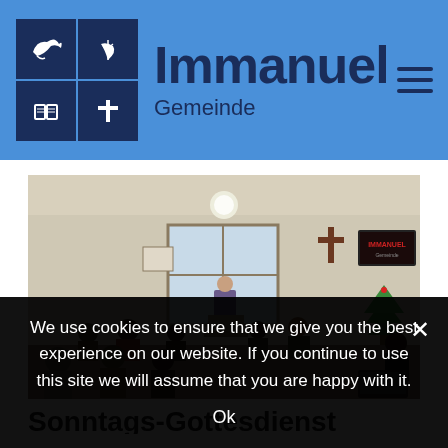Immanuel Gemeinde
[Figure (photo): Interior of a church meeting room with people seated facing a speaker at a podium. A cross is mounted on the wall, a TV screen shows a presentation, and a Christmas tree is visible in the corner.]
We use cookies to ensure that we give you the best experience on our website. If you continue to use this site we will assume that you are happy with it.
Ok